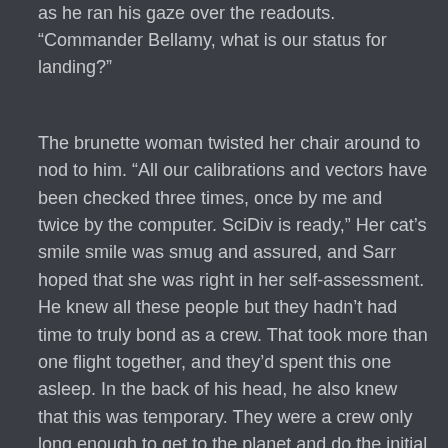as he ran his gaze over the readouts. “Commander Bellamy, what is our status for landing?”
The brunette woman twisted her chair around to nod to him. “All our calibrations and vectors have been checked three times, once by me and twice by the computer. SciDiv is ready,” Her cat’s smile smile was smug and assured, and Sarr hoped that she was right in her self-assessment. He knew all these people but they hadn’t had time to truly bond as a crew. That took more than one flight together, and they’d spent this one asleep. In the back of his head, he also knew that this was temporary. They were a crew only long enough to get to the planet and do the initial set up. He suspected they would drift apart once the remaining ships arrived and the permanent government for the settlement became established.